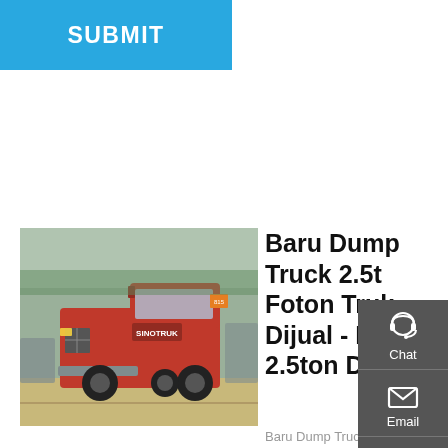SUBMIT
[Figure (photo): Red heavy-duty dump truck (Sinotruk/HOWO style) parked in a truck yard with other trucks and greenery in the background.]
Baru Dump Truck 2.5t Foton Truk Dijual - Buy 2.5ton Dump
Baru Dump Truck 2.5t Foton Truk Dijual, Find Complete Details about Baru Dump Truck 2.5t Foton Truk Dijual,2.5ton Dump Truck,2.5t Foton Truk,2.5t Dump Truk Dijual from Dump